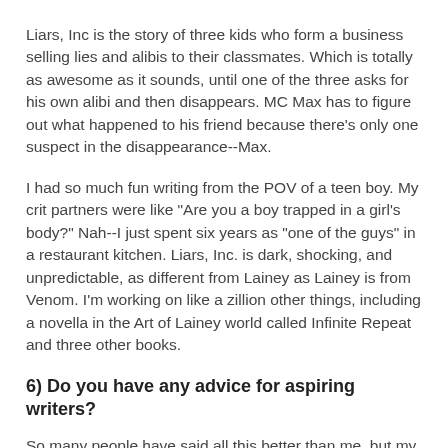Liars, Inc is the story of three kids who form a business selling lies and alibis to their classmates. Which is totally as awesome as it sounds, until one of the three asks for his own alibi and then disappears. MC Max has to figure out what happened to his friend because there's only one suspect in the disappearance--Max.
I had so much fun writing from the POV of a teen boy. My crit partners were like "Are you a boy trapped in a girl's body?" Nah--I just spent six years as "one of the guys" in a restaurant kitchen. Liars, Inc. is dark, shocking, and unpredictable, as different from Lainey as Lainey is from Venom. I'm working on like a zillion other things, including a novella in the Art of Lainey world called Infinite Repeat and three other books.
6) Do you have any advice for aspiring writers?
So many people have said all this better than me, but my advice is to write the book you want to read. Not what you